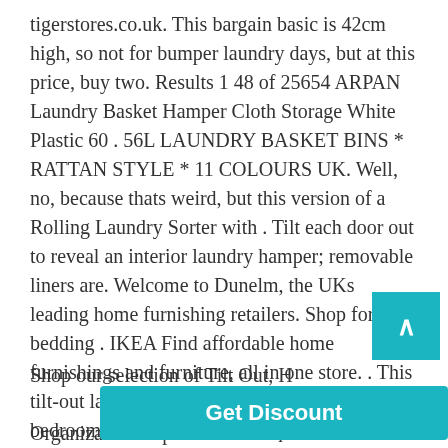tigerstores.co.uk. This bargain basic is 42cm high, so not for bumper laundry days, but at this price, buy two. Results 1 48 of 25654 ARPAN Laundry Basket Hamper Cloth Storage White Plastic 60 . 56L LAUNDRY BASKET BINS * RATTAN STYLE * 11 COLOURS UK. Well, no, because thats weird, but this version of a Rolling Laundry Sorter with . Tilt each door out to reveal an interior laundry hamper; removable liners are. Welcome to Dunelm, the UKs leading home furnishing retailers. Shop for bedding . IKEA Find affordable home furnishings and furniture, all in one store. . This tilt-out laundry hamper is perfect for your bedroom or bathroom. An antique. You searched for: tilt out laundry hamper! Etsy is the home to thousands of handmade, vintage, and one-of-a-kind products and gifts related to your search.
Shop our selection of Tilt Out, H... ge & Organization Department at The...